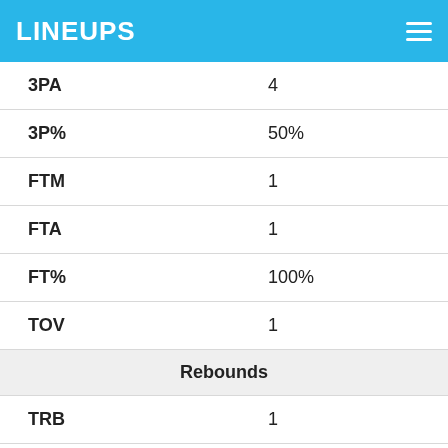LINEUPS
| Stat | Value |
| --- | --- |
| 3PA | 4 |
| 3P% | 50% |
| FTM | 1 |
| FTA | 1 |
| FT% | 100% |
| TOV | 1 |
| Rebounds |  |
| TRB | 1 |
| ORB | 0 |
| DRB | 1 |
| Defense |  |
| STL | 0 |
| BLK | 0 |